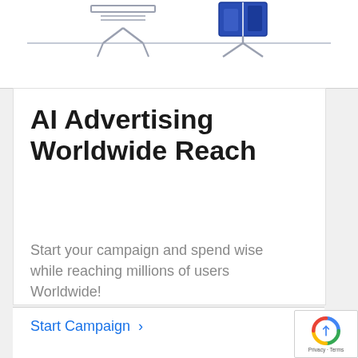[Figure (illustration): Line illustration of two easel/presentation stands with geometric shapes on top, on a white background with a horizontal dividing line]
AI Advertising Worldwide Reach
Start your campaign and spend wise while reaching millions of users Worldwide!
Start Campaign >
[Figure (logo): reCAPTCHA badge with logo and Privacy - Terms text]